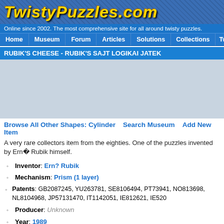TWISTYPUZZLES.COM
Online since 2002. The most comprehensive site for all around twisty puzzles.
Home | Museum | Forum | Articles | Solutions | Collections | Twistypedia
RUBIK'S CHEESE - RUBIK'S SAJT LOGIKAI JATEK
[Figure (photo): Image placeholder for Rubik's Cheese puzzle]
Browse All Other Shapes: Cylinder   Search Museum   Add New Item
A very rare collectors item from the eighties. One of the puzzles invented by Ern? Rubik himself.
Inventor: Ern? Rubik
Mechanism: Prism (1 layer)
Patents: GB2087245, YU263781, SE8106494, PT73941, NO813698, NL8104968, JP57131470, IT1142051, IE812621, IE520
Producer: Unknown
Year: 1989
Original Price: $0.00 USD
Current Price: $181.99 USD